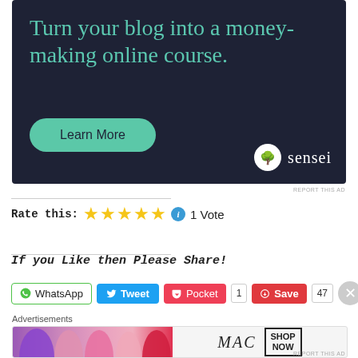[Figure (illustration): Dark navy advertisement banner for Sensei with teal text reading 'Turn your blog into a money-making online course.' with a Learn More button and Sensei logo]
REPORT THIS AD
Rate this: ★★★★★ ℹ 1 Vote
If you like then Please Share!
WhatsApp  Tweet  Pocket 1  Save 47
Advertisements
[Figure (illustration): MAC cosmetics advertisement banner showing lipsticks and MAC logo with SHOP NOW box]